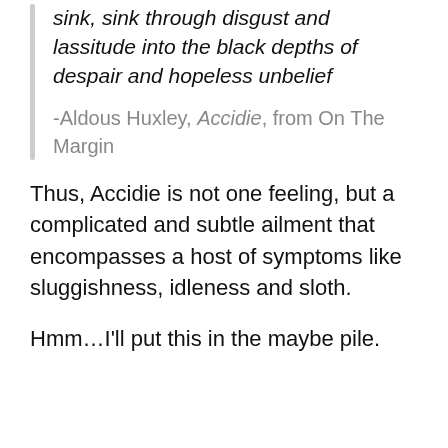sink, sink through disgust and lassitude into the black depths of despair and hopeless unbelief
-Aldous Huxley, Accidie, from On The Margin
Thus, Accidie is not one feeling, but a complicated and subtle ailment that encompasses a host of symptoms like sluggishness, idleness and sloth.
Hmm…I'll put this in the maybe pile.